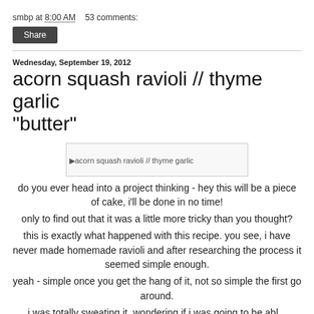smbp at 8:00 AM    53 comments:
Share
Wednesday, September 19, 2012
acorn squash ravioli // thyme garlic "butter"
[Figure (photo): Image placeholder reading: acorn squash ravioli // thyme garlic]
do you ever head into a project thinking - hey this will be a piece of cake, i'll be done in no time!
only to find out that it was a little more tricky than you thought?
this is exactly what happened with this recipe. you see, i have never made homemade ravioli and after researching the process it seemed simple enough.
yeah - simple once you get the hang of it, not so simple the first go around.
i was totally sweating it, wondering if i was going to be able...